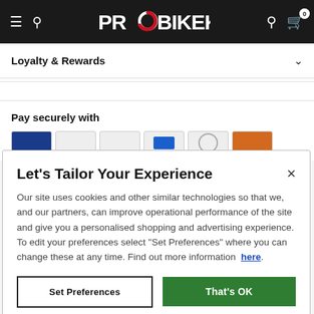PROBIKEKIT
Loyalty & Rewards
Pay securely with
Let's Tailor Your Experience
Our site uses cookies and other similar technologies so that we, and our partners, can improve operational performance of the site and give you a personalised shopping and advertising experience. To edit your preferences select "Set Preferences" where you can change these at any time. Find out more information here.
Set Preferences
That's OK